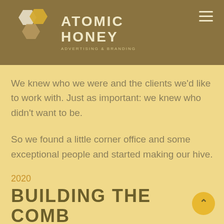[Figure (logo): Atomic Honey Advertising & Branding logo with honeycomb hexagons and brand name]
We knew who we were and the clients we'd like to work with. Just as important: we knew who didn't want to be.
So we found a little corner office and some exceptional people and started making our hive.
2020
BUILDING THE COMB